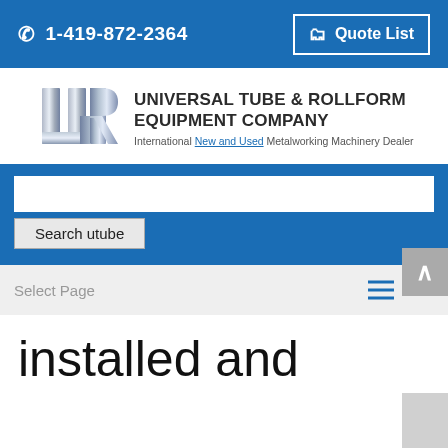1-419-872-2364  Quote List
[Figure (logo): Universal Tube & Rollform Equipment Company logo with metallic UT&R graphic mark]
UNIVERSAL TUBE & ROLLFORM EQUIPMENT COMPANY
International New and Used Metalworking Machinery Dealer
Search utube
Select Page
installed and running in just 36 hours